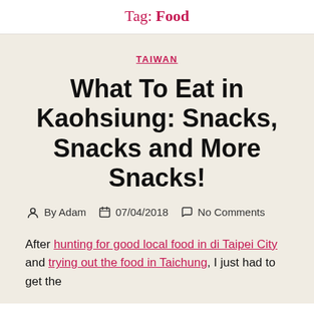Tag: Food
TAIWAN
What To Eat in Kaohsiung: Snacks, Snacks and More Snacks!
By Adam   07/04/2018   No Comments
After hunting for good local food in di Taipei City and trying out the food in Taichung, I just had to get the